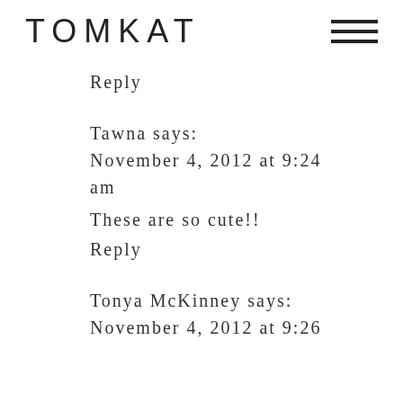TOMKAT
Reply
Tawna says:
November 4, 2012 at 9:24 am
These are so cute!!
Reply
Tonya McKinney says:
November 4, 2012 at 9:26